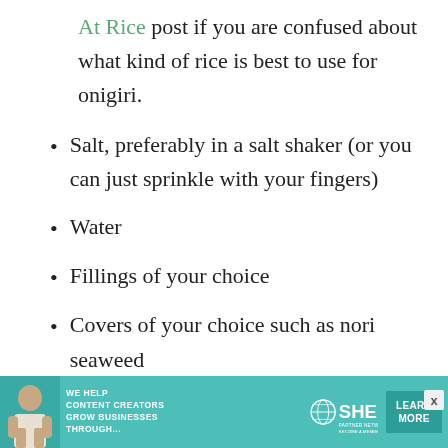At Rice post if you are confused about what kind of rice is best to use for onigiri.
Salt, preferably in a salt shaker (or you can just sprinkle with your fingers)
Water
Fillings of your choice
Covers of your choice such as nori seaweed
[Figure (infographic): Advertisement banner: WE HELP CONTENT CREATORS GROW BUSINESSES THROUGH... SHE PARTNER NETWORK BECOME A MEMBER. Learn More button. Teal/green background with woman photo.]